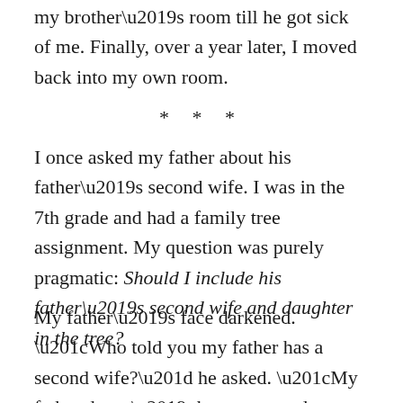my brother’s room till he got sick of me. Finally, over a year later, I moved back into my own room.
* * *
I once asked my father about his father’s second wife. I was in the 7th grade and had a family tree assignment. My question was purely pragmatic: Should I include his father’s second wife and daughter in the tree?
My father’s face darkened. “Who told you my father has a second wife?” he asked. “My father doesn’t have a second wife.”